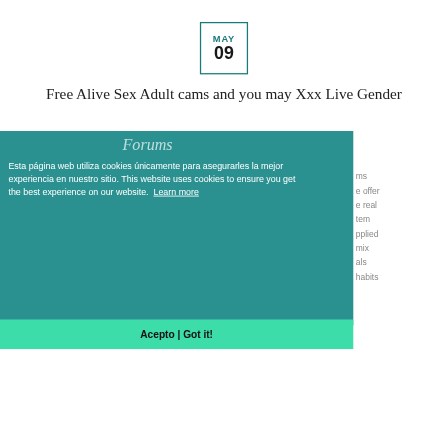[Figure (other): Date badge showing MAY 09 with teal border]
Free Alive Sex Adult cams and you may Xxx Live Gender Forums
Esta página web utiliza cookies únicamente para asegurarles la mejor experiencia en nuestro sitio. This website uses cookies to ensure you get the best experience on our website. Learn more
Acepto | Got it!